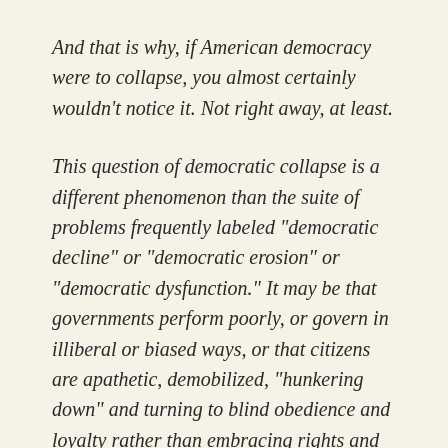And that is why, if American democracy were to collapse, you almost certainly wouldn't notice it. Not right away, at least.
This question of democratic collapse is a different phenomenon than the suite of problems frequently labeled "democratic decline" or "democratic erosion" or "democratic dysfunction." It may be that governments perform poorly, or govern in illiberal or biased ways, or that citizens are apathetic, demobilized, "hunkering down" and turning to blind obedience and loyalty rather than embracing rights and exercising voice. But what I mean by collapse is that it